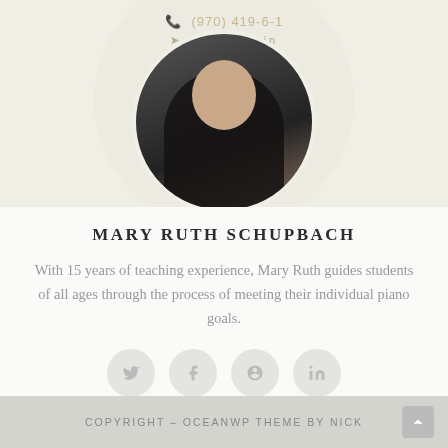[Figure (photo): Circular cropped profile photo of Mary Ruth Schupbach, showing a person in dark clothing against a light background, cropped in a circle. Above the photo is a phone number (970) 419-6-1 and social media icons for Twitter, Facebook, Google+, and LinkedIn.]
MARY RUTH SCHUPBACH
With 15 years of teaching experience, Mary Ruth guides students of all ages through the process of meeting their individual piano goals.
[Figure (infographic): Row of four circular social media icon buttons (light gray circles with gray icons inside): Twitter/bird, Facebook, Pinterest/circle, LinkedIn or similar.]
COPYRIGHT – OCEANWP THEME BY NICK